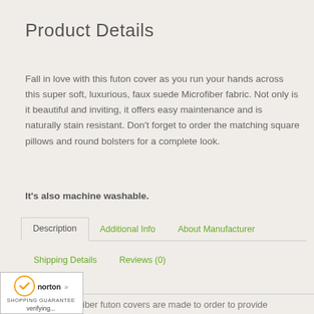Product Details
Fall in love with this futon cover as you run your hands across this super soft, luxurious, faux suede Microfiber fabric. Not only is it beautiful and inviting, it offers easy maintenance and is naturally stain resistant. Don't forget to order the matching square pillows and round bolsters for a complete look.
It's also machine washable.
Description | Additional Info | About Manufacturer | Shipping Details | Reviews (0)
[Figure (logo): Norton Shopping Guarantee badge with checkmark, showing 'verifying...' text]
iber futon covers are made to order to provide